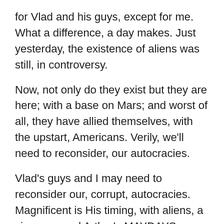for Vlad and his guys, except for me. What a difference, a day makes. Just yesterday, the existence of aliens was still, in controversy.
Now, not only do they exist but they are here; with a base on Mars; and worst of all, they have allied themselves, with the upstart, Americans. Verily, we'll need to reconsider, our autocracies.
Vlad's guys and I may need to reconsider our, corrupt, autocracies. Magnificent is His timing, with aliens, a virus, me and Arthur's MAYDAYS, uncannily manifesting — Jung's, synchronicities.
Jung's synchronicities (coincidences, more commonly) are regarded as pseudoscientific; not based on experimental evidence and better explained by probabilities — and